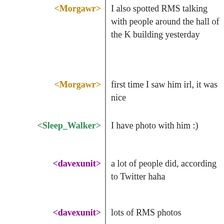<Morgawr> I also spotted RMS talking with people around the hall of the K building yesterday
<Morgawr> first time I saw him irl, it was nice
<Sleep_Walker> I have photo with him :)
<davexunit> a lot of people did, according to Twitter haha
<davexunit> lots of RMS photos
<Sleep_Walker> yeah
<Morgawr> I didn't want to look like a fanboy so I didn't ask for one, but I totally